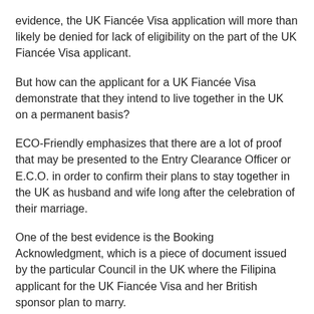evidence, the UK Fiancée Visa application will more than likely be denied for lack of eligibility on the part of the UK Fiancée Visa applicant.
But how can the applicant for a UK Fiancée Visa demonstrate that they intend to live together in the UK on a permanent basis?
ECO-Friendly emphasizes that there are a lot of proof that may be presented to the Entry Clearance Officer or E.C.O. in order to confirm their plans to stay together in the UK as husband and wife long after the celebration of their marriage.
One of the best evidence is the Booking Acknowledgment, which is a piece of document issued by the particular Council in the UK where the Filipina applicant for the UK Fiancée Visa and her British sponsor plan to marry.
Although the marriage between the couple may only be registered if both parties personally present themselves at the particular Council where they plan to celebrate the marriage (as previously mentioned in the Fiancée Visa Page of the ECO-Friendly website, the couple…